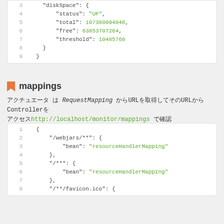3    "diskSpace": {
4        "status": "UP",
5        "total": 107380994048,
6        "free": 63853707264,
7        "threshold": 10485760
8    }
9 }
mappings
アクチュエータ は RequestMapping からURL情報を取得してそのURLを持つControllerを アクセスhttp://localhost/monitor/mappings で確認
1  {
2      "/webjars/**": {
3          "bean": "resourceHandlerMapping"
4      },
5      "/**": {
6          "bean": "resourceHandlerMapping"
7      },
8      "/**/favicon.ico": {